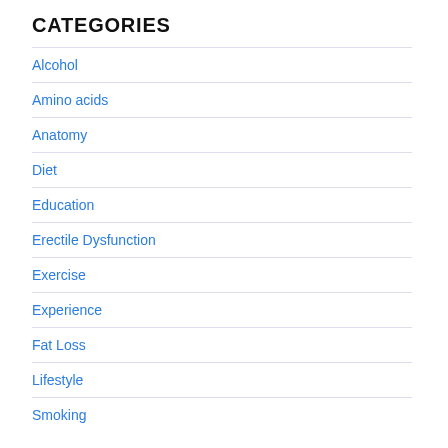CATEGORIES
Alcohol
Amino acids
Anatomy
Diet
Education
Erectile Dysfunction
Exercise
Experience
Fat Loss
Lifestyle
Smoking